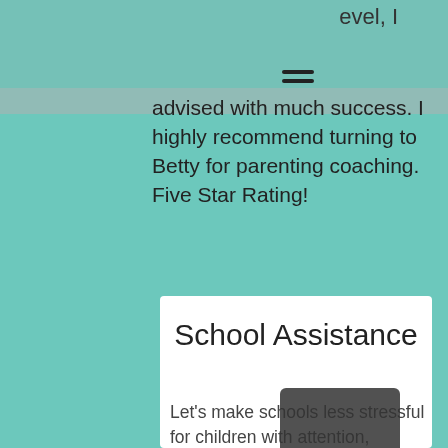advised with much success. I highly recommend turning to Betty for parenting coaching. Five Star Rating!
School Assistance
Let's make schools less stressful for children with attention, learning, and sensory challenges.
This service includes the following:
Help with how to put on an IEP, BIP, or plan that